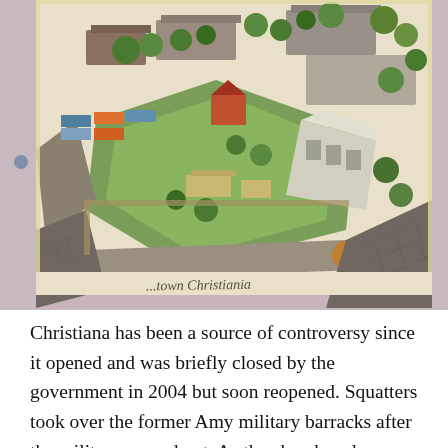[Figure (illustration): An aerial illustration/painting of Christiania, showing a dense compound of buildings, green courtyards, trees, and roads viewed from above at an angle. The painting is displayed on a pinkish-beige wall with tape at the corners. At the bottom of the painting, handwritten cursive text reads 'Christiania'.]
Christiana has been a source of controversy since it opened and was briefly closed by the government in 2004 but soon reopened. Squatters took over the former Amy military barracks after the military moved out. As the abandoned area was only watched by a couple of